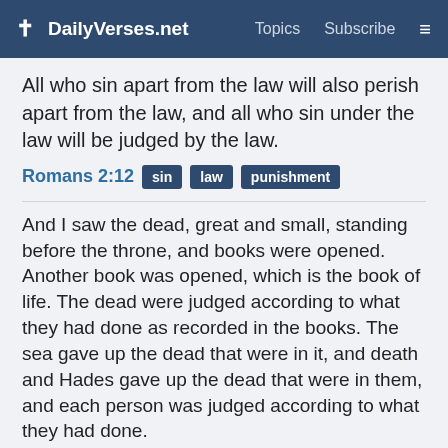✝ DailyVerses.net   Topics   Subscribe   ≡
All who sin apart from the law will also perish apart from the law, and all who sin under the law will be judged by the law.
Romans 2:12  sin  law  punishment
And I saw the dead, great and small, standing before the throne, and books were opened. Another book was opened, which is the book of life. The dead were judged according to what they had done as recorded in the books. The sea gave up the dead that were in it, and death and Hades gave up the dead that were in them, and each person was judged according to what they had done.
Revelation 20:12-13  resurrection